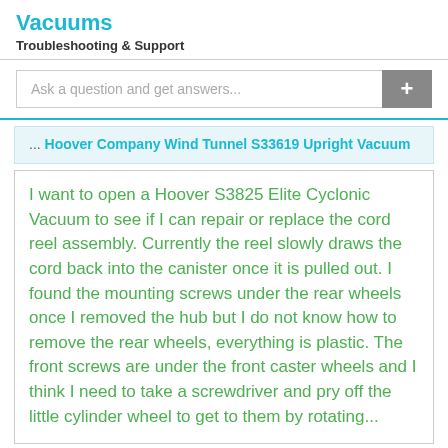Vacuums
Troubleshooting & Support
Ask a question and get answers...
... Hoover Company Wind Tunnel S33619 Upright Vacuum
I want to open a Hoover S3825 Elite Cyclonic Vacuum to see if I can repair or replace the cord reel assembly. Currently the reel slowly draws the cord back into the canister once it is pulled out. I found the mounting screws under the rear wheels once I removed the hub but I do not know how to remove the rear wheels, everything is plastic. The front screws are under the front caster wheels and I think I need to take a screwdriver and pry off the little cylinder wheel to get to them by rotating...